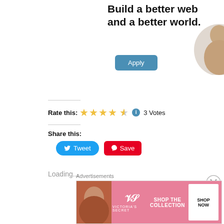[Figure (screenshot): Advertisement banner with text 'Build a better web and a better world.' and a blue Apply button, with a circular photo of a person on the right edge]
Rate this: ★★★★½ ℹ 3 Votes
Share this:
Loading...
Advertisements
[Figure (screenshot): Victoria's Secret advertisement banner with model photo, VS logo, 'SHOP THE COLLECTION' text, and 'SHOP NOW' button]